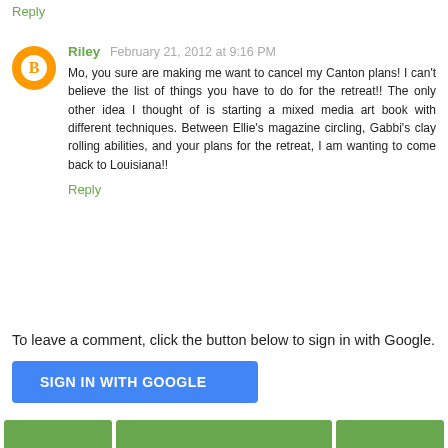Reply
Riley  February 21, 2012 at 9:16 PM
Mo, you sure are making me want to cancel my Canton plans! I can't believe the list of things you have to do for the retreat!! The only other idea I thought of is starting a mixed media art book with different techniques. Between Ellie's magazine circling, Gabbi's clay rolling abilities, and your plans for the retreat, I am wanting to come back to Louisiana!!
Reply
To leave a comment, click the button below to sign in with Google.
SIGN IN WITH GOOGLE